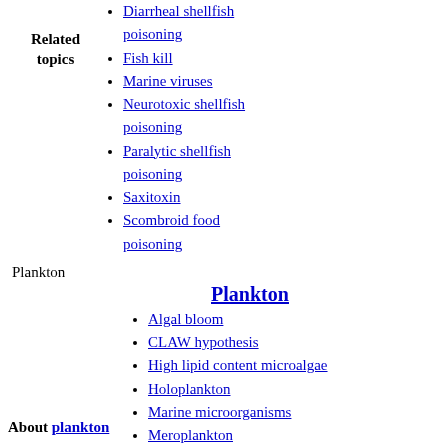Diarrheal shellfish poisoning
Fish kill
Marine viruses
Neurotoxic shellfish poisoning
Paralytic shellfish poisoning
Saxitoxin
Scombroid food poisoning
Plankton
Plankton
Algal bloom
CLAW hypothesis
High lipid content microalgae
Holoplankton
Marine microorganisms
Meroplankton
Mycoplankton
Milky seas effect
Paradox of the plankton
Planktivore
Planktology